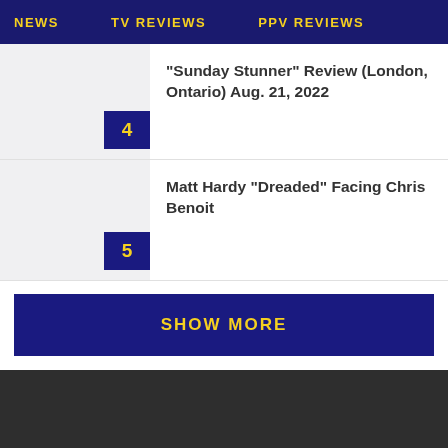NEWS   TV REVIEWS   PPV REVIEWS
“Sunday Stunner” Review (London, Ontario) Aug. 21, 2022
Matt Hardy “Dreaded” Facing Chris Benoit
SHOW MORE
News   TV Reviews   PPV Reviews   The John Report